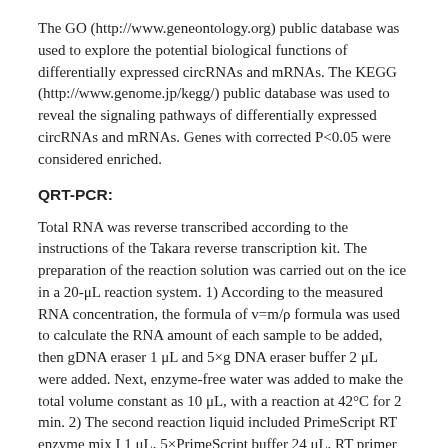The GO (http://www.geneontology.org) public database was used to explore the potential biological functions of differentially expressed circRNAs and mRNAs. The KEGG (http://www.genome.jp/kegg/) public database was used to reveal the signaling pathways of differentially expressed circRNAs and mRNAs. Genes with corrected P<0.05 were considered enriched.
QRT-PCR:
Total RNA was reverse transcribed according to the instructions of the Takara reverse transcription kit. The preparation of the reaction solution was carried out on the ice in a 20-μL reaction system. 1) According to the measured RNA concentration, the formula of v=m/ρ formula was used to calculate the RNA amount of each sample to be added, then gDNA eraser 1 μL and 5×g DNA eraser buffer 2 μL were added. Next, enzyme-free water was added to make the total volume constant as 10 μL, with a reaction at 42°C for 2 min. 2) The second reaction liquid included PrimeScript RT enzyme mix I 1 μL, 5×PrimeScript buffer 24 μL, RT primer mix 1 μL, and RNase free dH2O 4 μL. The above 1) and 2) reaction liquids were mixed, and the program was set to a constant of 37°C, 15 min → 85°C, and 5 s → 4°C. The obtained